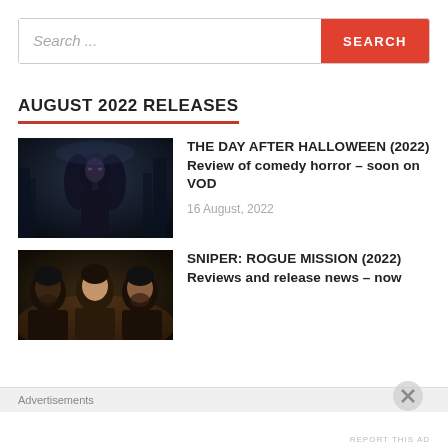[Figure (screenshot): Search bar with text input field showing placeholder 'Search...' and a red SEARCH button]
AUGUST 2022 RELEASES
[Figure (photo): Dark moody image of a woman with long dark hair in a dark forest setting, for The Day After Halloween]
THE DAY AFTER HALLOWEEN (2022) Review of comedy horror – soon on VOD
16 August, 2022
[Figure (photo): Dark image showing three characters including men with facial hair for Sniper: Rogue Mission]
SNIPER: ROGUE MISSION (2022) Reviews and release news – now
Advertisements
REPORT THIS AD